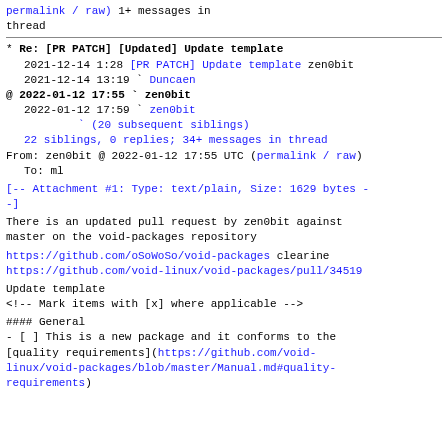permalink / raw) 1+ messages in thread
* Re: [PR PATCH] [Updated] Update template
  2021-12-14  1:28 [PR PATCH] Update template zen0bit
  2021-12-14 13:19 ` Duncaen
@ 2022-01-12 17:55 ` zen0bit
  2022-01-12 17:59 ` zen0bit
                   ` (20 subsequent siblings)
  22 siblings, 0 replies; 34+ messages in thread
From: zen0bit @ 2022-01-12 17:55 UTC (permalink / raw)
  To: ml
[-- Attachment #1: Type: text/plain, Size: 1629 bytes --]
There is an updated pull request by zen0bit against master on the void-packages repository
https://github.com/oSoWoSo/void-packages clearine
https://github.com/void-linux/void-packages/pull/34519
Update template
<!-- Mark items with [x] where applicable -->
#### General
- [ ] This is a new package and it conforms to the [quality requirements](https://github.com/void-linux/void-packages/blob/master/Manual.md#quality-requirements)